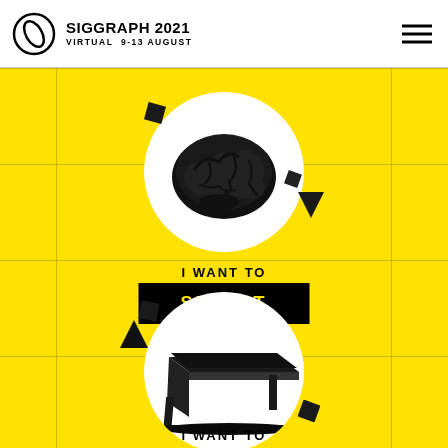SIGGRAPH 2021 VIRTUAL 9-13 AUGUST
[Figure (illustration): 3D black brain model inside a white circle, with floating dark geometric shapes around it, on yellow background]
I WANT TO
SUBMIT
[Figure (illustration): 3D black desk/table model inside a white circle, with floating dark geometric shapes around it, on yellow background]
I WANT TO